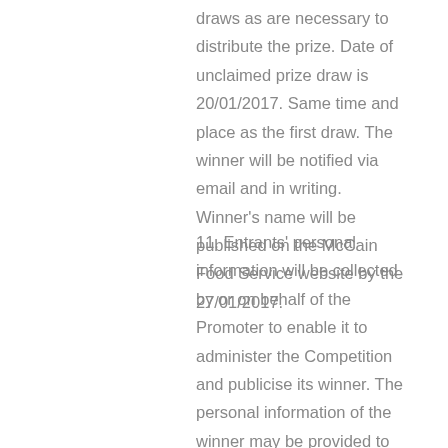draws as are necessary to distribute the prize. Date of unclaimed prize draw is 20/01/2017. Same time and place as the first draw. The winner will be notified via email and in writing. Winner's name will be published on the McCain Food Service website by the 27/01/2017.
11. Entrants' personal information will be collected by or on behalf of the Promoter to enable it to administer the Competition and publicise its winner. The personal information of the winner may be provided to others assisting in the conduct of the Competition, including the Competition administrator, prize supplier and deliverer, and to regulatory authorities. Entrant's personal details will not be shared with a third party. Entrants may contact the Promoter by post at the address stated in condition 12 to request access to, or